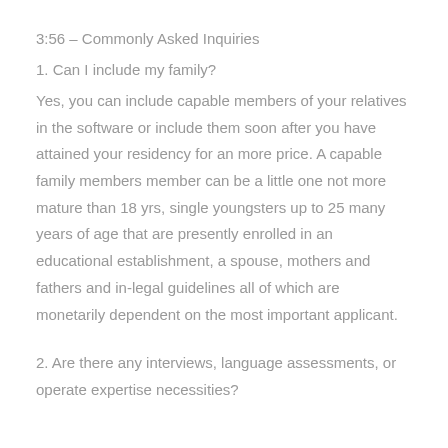3:56 – Commonly Asked Inquiries
1. Can I include my family?
Yes, you can include capable members of your relatives in the software or include them soon after you have attained your residency for an more price. A capable family members member can be a little one not more mature than 18 yrs, single youngsters up to 25 many years of age that are presently enrolled in an educational establishment, a spouse, mothers and fathers and in-legal guidelines all of which are monetarily dependent on the most important applicant.
2. Are there any interviews, language assessments, or operate expertise necessities?